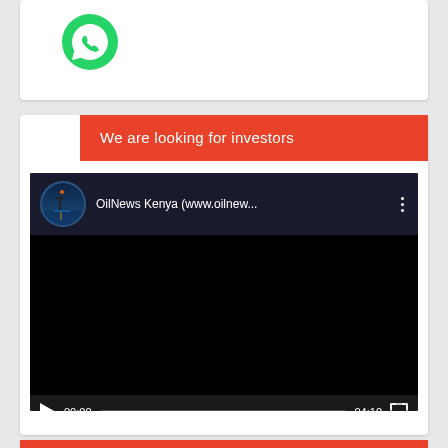[Figure (screenshot): WhatsApp icon partial view at top of card]
We are looking for investors
[Figure (screenshot): YouTube-style video player showing OilNews Kenya (www.oilnew...) channel with black video area and controls showing 00:00 / 04:10]
Contact US
Nairobi Office